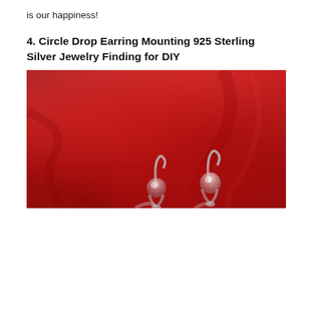is our happiness!
4. Circle Drop Earring Mounting 925 Sterling Silver Jewelry Finding for DIY
[Figure (photo): Product photo of sterling silver circle drop earring mountings displayed against a red fabric background. Two silver earring findings are visible at the bottom of the image showing round tops and hook mechanisms.]